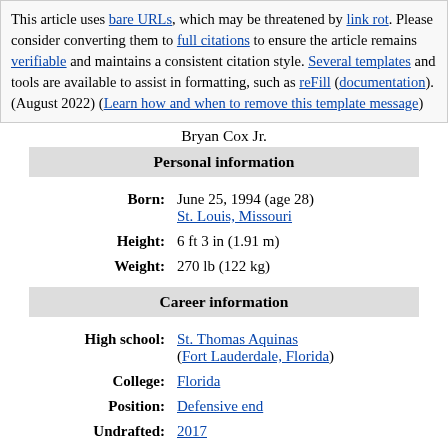This article uses bare URLs, which may be threatened by link rot. Please consider converting them to full citations to ensure the article remains verifiable and maintains a consistent citation style. Several templates and tools are available to assist in formatting, such as reFill (documentation). (August 2022) (Learn how and when to remove this template message)
Bryan Cox Jr.
| Personal information |
| Born: | June 25, 1994 (age 28)
St. Louis, Missouri |
| Height: | 6 ft 3 in (1.91 m) |
| Weight: | 270 lb (122 kg) |
| Career information |
| High school: | St. Thomas Aquinas
(Fort Lauderdale, Florida) |
| College: | Florida |
| Position: | Defensive end |
| Undrafted: | 2017 |
| Career history |
Carolina Panthers (2017–2019)